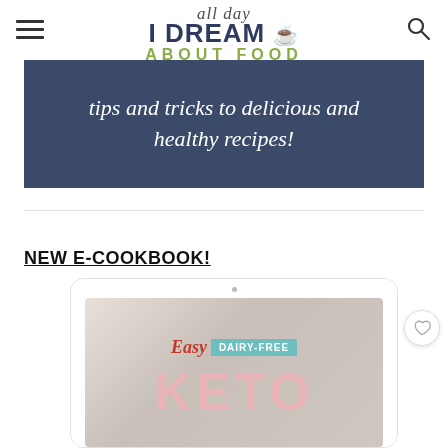all day I DREAM ABOUT FOOD
tips and tricks to delicious and healthy recipes!
NEW E-COOKBOOK!
[Figure (photo): Tablet displaying 'Easy DAIRY-FREE KETO' e-cookbook cover with pink KETO text and teal dairy-free label]